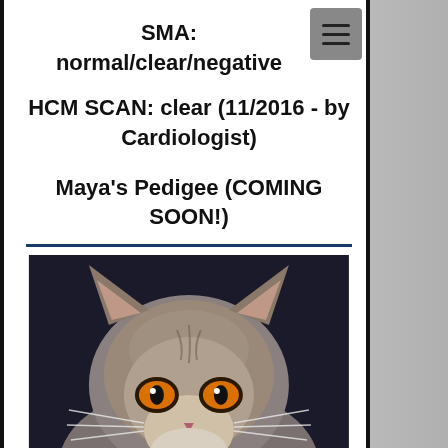SMA: normal/clear/negative
HCM SCAN: clear (11/2016 - by Cardiologist)
Maya's Pedigee (COMING SOON!)
[Figure (photo): Close-up photo of a Maine Coon cat with gray/brown tabby fur and bright orange/amber eyes, looking directly at the camera against a dark background.]